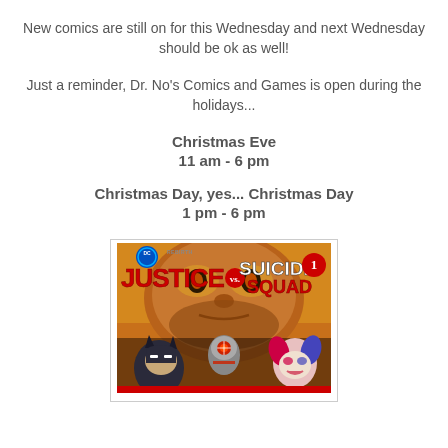New comics are still on for this Wednesday and next Wednesday should be ok as well!
Just a reminder, Dr. No's Comics and Games is open during the holidays...
Christmas Eve
11 am - 6 pm
Christmas Day, yes... Christmas Day
1 pm - 6 pm
[Figure (illustration): Cover of DC Rebirth Justice vs Suicide Squad #1 comic book, featuring Batman, Harley Quinn, Deadshot and other characters.]